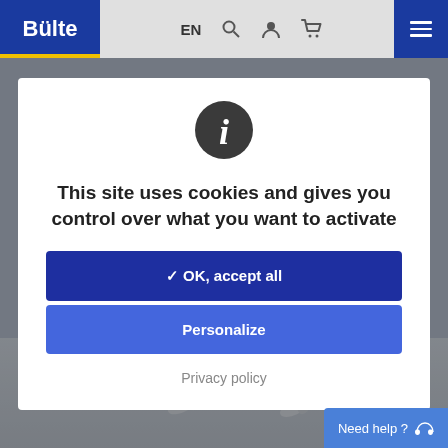Bülte EN
[Figure (screenshot): Cookie consent modal on Bülte website showing info icon, title text, accept all button, personalize button, and privacy policy link]
This site uses cookies and gives you control over what you want to activate
✓ OK, accept all
Personalize
Privacy policy
Need help ?